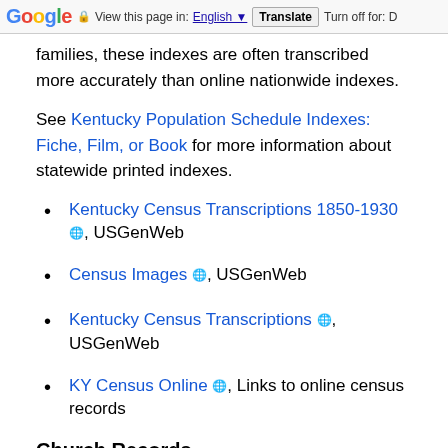Google | View this page in: English | Translate | Turn off for: D
families, these indexes are often transcribed more accurately than online nationwide indexes.
See Kentucky Population Schedule Indexes: Fiche, Film, or Book for more information about statewide printed indexes.
Kentucky Census Transcriptions 1850-1930, USGenWeb
Census Images, USGenWeb
Kentucky Census Transcriptions, USGenWeb
KY Census Online, Links to online census records
Church Records
Church records and the information they provide vary